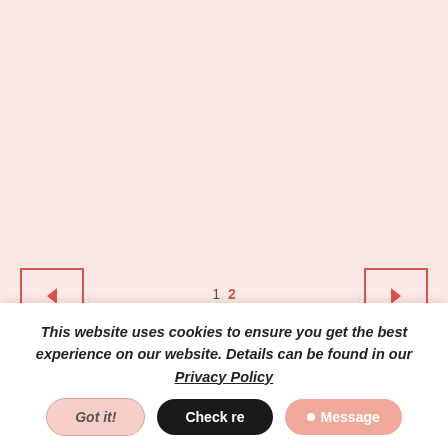[Figure (screenshot): Light pink background area representing a webpage content area with navigation arrows on left and right sides, and page indicators showing '1' and '2' at the bottom center.]
This website uses cookies to ensure you get the best experience on our website. Details can be found in our Privacy Policy
Got it!
Check re
Message